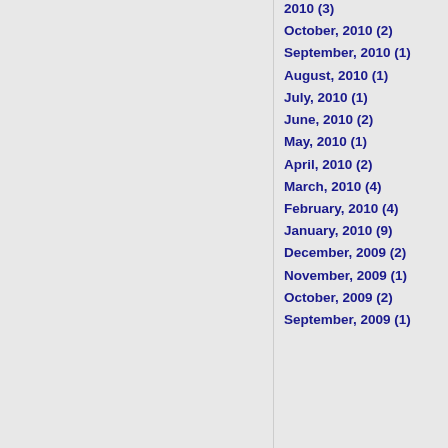2010 (3)
October, 2010 (2)
September, 2010 (1)
August, 2010 (1)
July, 2010 (1)
June, 2010 (2)
May, 2010 (1)
April, 2010 (2)
March, 2010 (4)
February, 2010 (4)
January, 2010 (9)
December, 2009 (2)
November, 2009 (1)
October, 2009 (2)
September, 2009 (1)